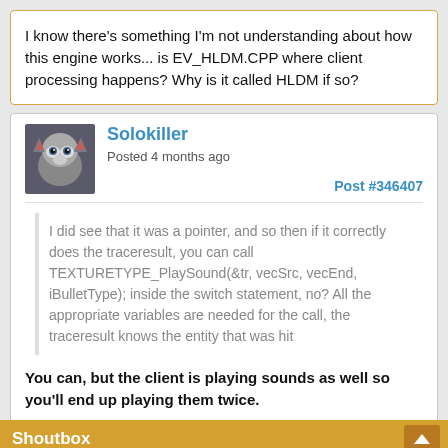I know there's something I'm not understanding about how this engine works... is EV_HLDM.CPP where client processing happens? Why is it called HLDM if so?
Solokiller
Posted 4 months ago
Post #346407
I did see that it was a pointer, and so then if it correctly does the traceresult, you can call TEXTURETYPE_PlaySound(&tr, vecSrc, vecEnd, iBulletType); inside the switch statement, no? All the appropriate variables are needed for the call, the traceresult knows the entity that was hit
You can, but the client is playing sounds as well so you'll end up playing them twice.
Shoutbox